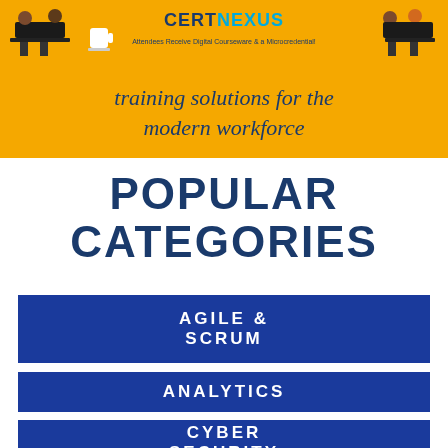[Figure (logo): CertNexus logo banner with orange background, illustrated characters at sides, text 'CERTNEXUS' and 'Attendees Receive Digital Courseware & a Microcredential!']
training solutions for the modern workforce
POPULAR CATEGORIES
AGILE & SCRUM
ANALYTICS
CYBER SECURITY